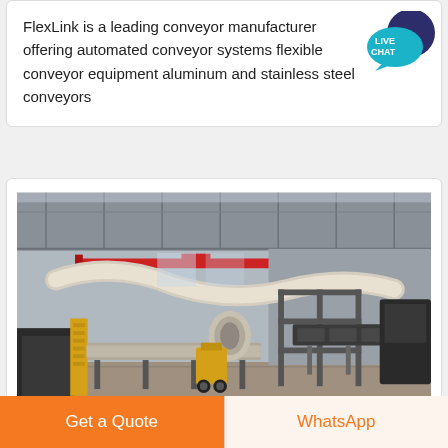FlexLink is a leading conveyor manufacturer offering automated conveyor systems flexible conveyor equipment aluminum and stainless steel conveyors
[Figure (photo): Interior of a large industrial factory/warehouse showing conveyor systems, steel structural frames, yellow staircases, overhead crane rails (red beams), and large flexible ducts. Multiple conveyor lines visible with industrial equipment.]
Get a Quote
WhatsApp